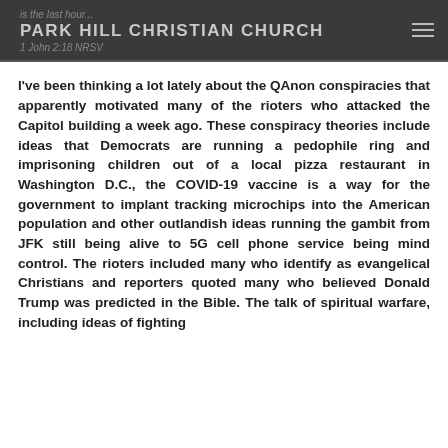is the last hour...
PARK HILL CHRISTIAN CHURCH
1 John 2:18 NRSV
I've been thinking a lot lately about the QAnon conspiracies that apparently motivated many of the rioters who attacked the Capitol building a week ago. These conspiracy theories include ideas that Democrats are running a pedophile ring and imprisoning children out of a local pizza restaurant in Washington D.C., the COVID-19 vaccine is a way for the government to implant tracking microchips into the American population and other outlandish ideas running the gambit from JFK still being alive to 5G cell phone service being mind control. The rioters included many who identify as evangelical Christians and reporters quoted many who believed Donald Trump was predicted in the Bible. The talk of spiritual warfare, including ideas of fighting